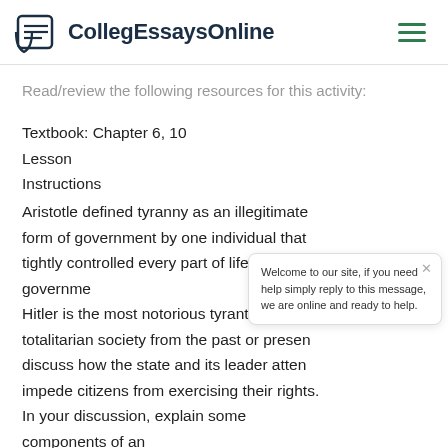CollegEssaysOnline
Read/review the following resources for this activity:
Textbook: Chapter 6, 10
Lesson
Instructions
Aristotle defined tyranny as an illegitimate form of government by one individual that tightly controlled every part of life and governme... Hitler is the most notorious tyrant. Using a... totalitarian society from the past or presen... discuss how the state and its leader atten... impede citizens from exercising their rights. In your discussion, explain some components of an